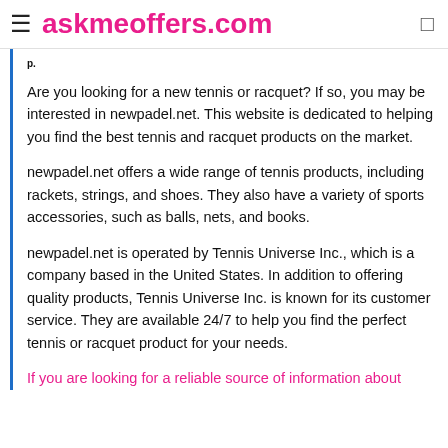≡ askmeoffers.com
Are you looking for a new tennis or racquet? If so, you may be interested in newpadel.net. This website is dedicated to helping you find the best tennis and racquet products on the market.
newpadel.net offers a wide range of tennis products, including rackets, strings, and shoes. They also have a variety of sports accessories, such as balls, nets, and books.
newpadel.net is operated by Tennis Universe Inc., which is a company based in the United States. In addition to offering quality products, Tennis Universe Inc. is known for its customer service. They are available 24/7 to help you find the perfect tennis or racquet product for your needs.
If you are looking for a reliable source of information about